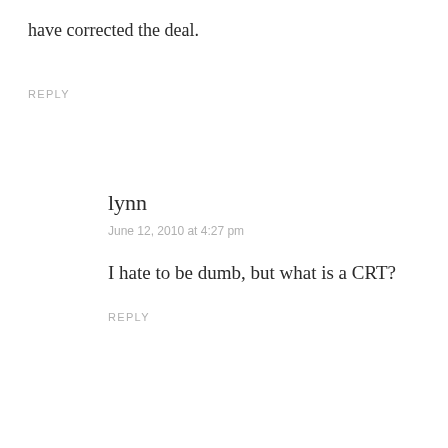have corrected the deal.
REPLY
lynn
June 12, 2010 at 4:27 pm
I hate to be dumb, but what is a CRT?
REPLY